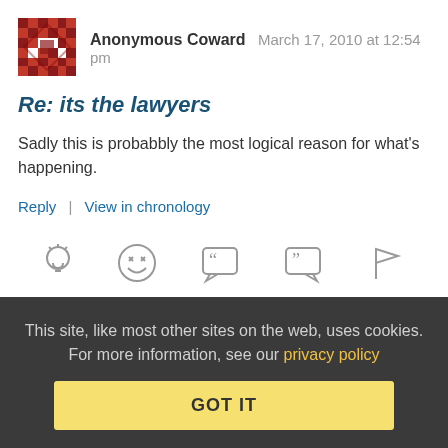[Figure (illustration): Avatar icon for Anonymous Coward user 1 - red/brown geometric pattern]
Anonymous Coward   March 17, 2010 at 12:54 pm
Re: its the lawyers
Sadly this is probabbly the most logical reason for what's happening.
Reply | View in chronology
[Figure (infographic): Action icons row: lightbulb, laughing emoji, open-quote speech bubble, close-quote speech bubble, flag]
[Figure (illustration): Avatar icon for Anonymous Coward user 2 - teal/green geometric pattern]
Anonymous Coward   March 17, 2010 at 12:13 pm
This site, like most other sites on the web, uses cookies. For more information, see our privacy policy
GOT IT